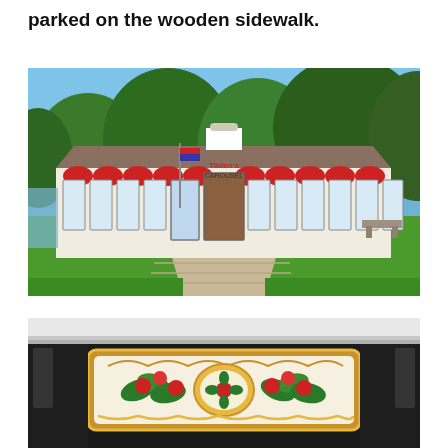parked on the wooden sidewalk.
[Figure (photo): Exterior photo of a historic carousel building (Tilden's Carousel) with white walls, red arched awnings, and large glass doors, surrounded by green lawn and trees, with a wooden walkway leading to the entrance on a sunny day.]
[Figure (photo): Close-up interior or detail photo showing decorative carousel panel with floral and fruit motifs in red, green, and gold, with a white ceiling/border visible at the top.]